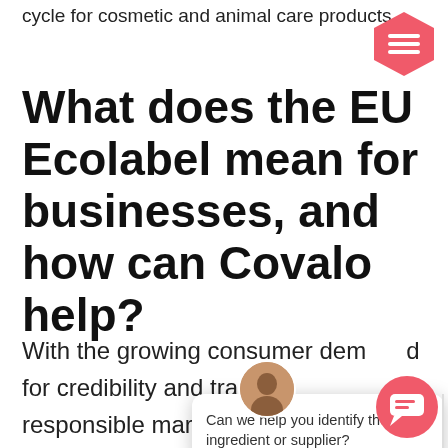cycle for cosmetic and animal care products.
What does the EU Ecolabel mean for businesses, and how can Covalo help?
With the growing consumer demand for credibility and transparency, responsible marketing can help increase brand profitability and reputation. The new label can be valuable in unlocking new business opportunities. Suppliers